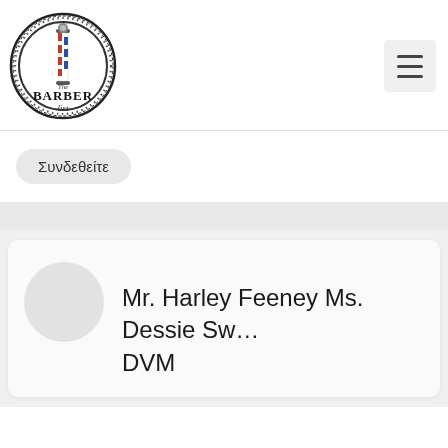[Figure (logo): The Barber List logo — circular badge with barber pole in center, ornate border, text reading 'The BARBER list']
[Figure (other): Hamburger menu button (three horizontal lines) on a light gray square background]
Συνδεθείτε
Mr. Harley Feeney Ms. Dessie Sw… DVM